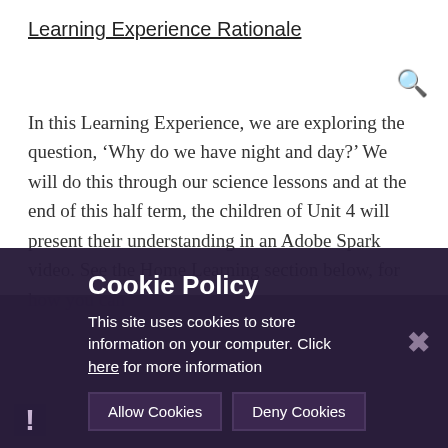Learning Experience Rationale
In this Learning Experience, we are exploring the question, ‘Why do we have night and day?’ We will do this through our science lessons and at the end of this half term, the children of Unit 4 will present their understanding in an Adobe Spark video. See the Home Learning section below, for how you can support this learning with your child.
For Literacy, the children will be exploring a text, The Seasons, about Autumn and Leaves. They will use this to inspire their writing here, which is all about writing with...
Cookie Policy
This site uses cookies to store information on your computer. Click here for more information
Allow Cookies  Deny Cookies